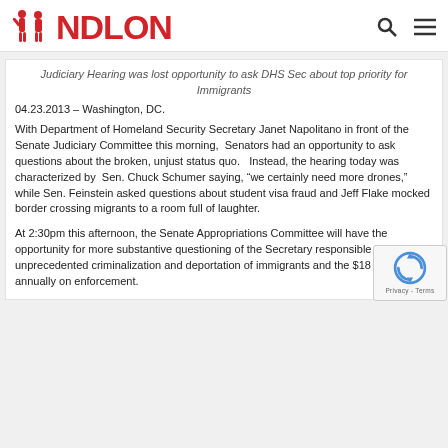NDLON
Judiciary Hearing was lost opportunity to ask DHS Sec about top priority for Immigrants
04.23.2013 – Washington, DC.
With Department of Homeland Security Secretary Janet Napolitano in front of the Senate Judiciary Committee this morning,  Senators had an opportunity to ask questions about the broken, unjust status quo.   Instead, the hearing today was characterized by  Sen. Chuck Schumer saying, "we certainly need more drones," while Sen. Feinstein asked questions about student visa fraud and Jeff Flake mocked border crossing migrants to a room full of laughter.
At 2:30pm this afternoon, the Senate Appropriations Committee will have the opportunity for more substantive questioning of the Secretary responsible for unprecedented criminalization and deportation of immigrants and the $18 billion spent annually on enforcement.